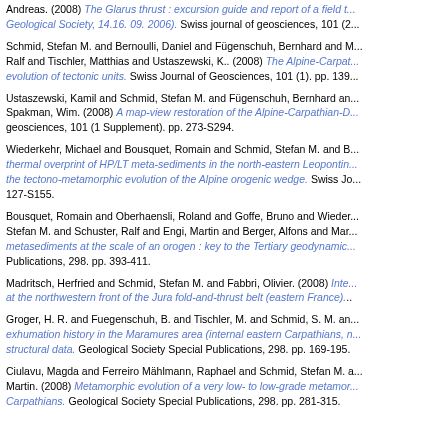Andreas. (2008) The Glarus thrust : excursion guide and report of a field trip of the Swiss Geological Society, 14.16. 09. 2006). Swiss journal of geosciences, 101 (2...
Schmid, Stefan M. and Bernoulli, Daniel and Fügenschuh, Bernhard and M... Ralf and Tischler, Matthias and Ustaszewski, K.. (2008) The Alpine-Carpathian...evolution of tectonic units. Swiss Journal of Geosciences, 101 (1). pp. 139...
Ustaszewski, Kamil and Schmid, Stefan M. and Fügenschuh, Bernhard an... Spakman, Wim. (2008) A map-view restoration of the Alpine-Carpathian-D... geosciences, 101 (1 Supplement). pp. 273-S294.
Wiederkehr, Michael and Bousquet, Romain and Schmid, Stefan M. and B... thermal overprint of HP/LT meta-sediments in the north-eastern Leopontine... the tectono-metamorphic evolution of the Alpine orogenic wedge. Swiss Jo... 127-S155.
Bousquet, Romain and Oberhaensli, Roland and Goffe, Bruno and Wieder... Stefan M. and Schuster, Ralf and Engi, Martin and Berger, Alfons and Mar... metasediments at the scale of an orogen : key to the Tertiary geodynamic... Publications, 298. pp. 393-411.
Madritsch, Herfried and Schmid, Stefan M. and Fabbri, Olivier. (2008) Inte... at the northwestern front of the Jura fold-and-thrust belt (eastern France)...
Groger, H. R. and Fuegenschuh, B. and Tischler, M. and Schmid, S. M. an... exhumation history in the Maramures area (internal eastern Carpathians, n... structural data. Geological Society Special Publications, 298. pp. 169-195.
Ciulavu, Magda and Ferreiro Mählmann, Raphael and Schmid, Stefan M. a... Martin. (2008) Metamorphic evolution of a very low- to low-grade metamor... Carpathians. Geological Society Special Publications, 298. pp. 281-315.